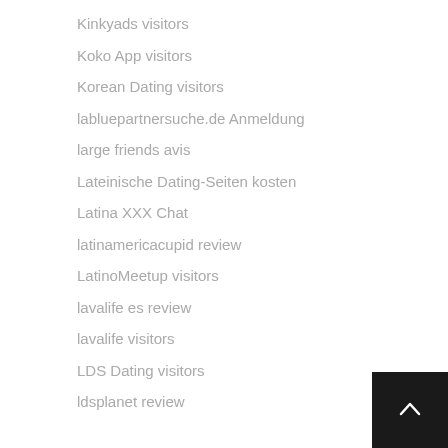Kinkyads visitors
Koko App visitors
Korean Dating visitors
labluepartnersuche.de Anmeldung
large friends avis
Lateinische Dating-Seiten kosten
Latina XXX Chat
latinamericacupid review
LatinoMeetup visitors
lavalife es review
lavalife visitors
LDS Dating visitors
ldsplanet review